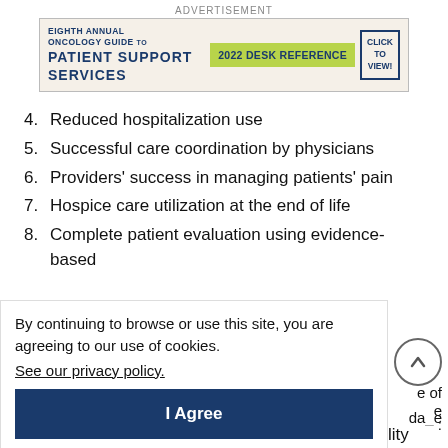[Figure (other): Advertisement banner: Eighth Annual Oncology Guide to Patient Support Services, 2022 Desk Reference, Click To View!]
4. Reduced hospitalization use
5. Successful care coordination by physicians
6. Providers' success in managing patients' pain
7. Hospice care utilization at the end of life
8. Complete patient evaluation using evidence-based
By continuing to browse or use this site, you are agreeing to our use of cookies.
See our privacy policy.
I Agree
of unnecessary hospitalization use, and responsibility